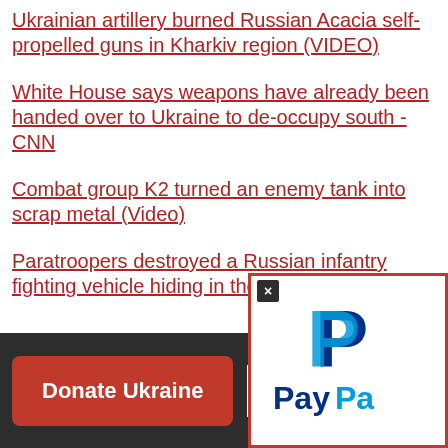Ukrainian artillery burned Russian Acacia self-propelled guns in Kharkiv region (VIDEO)
White House says weapons have already been handed over to Ukraine to de-occupy south - CNN
Combat group K2 turned an enemy tank into scrap metal (Video)
Paratroopers destroyed a Russian infantry fighting vehicle hiding in the forest (Video)
[Figure (screenshot): PayPal popup overlay with close button (×) in top-left corner, showing PayPal logo (blue P symbol and PayPa... text) on white background with red border]
Donate Ukraine
A